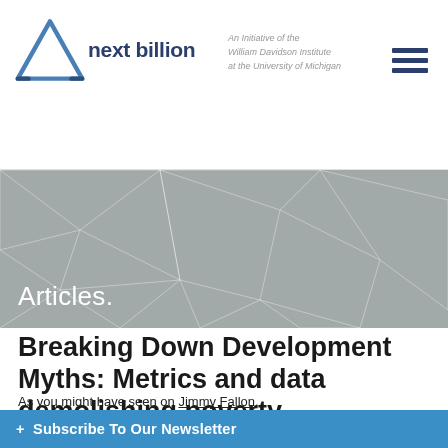[Figure (logo): Next Billion logo with triangle icon and text 'next billion', tagline 'An Initiative of the William Davidson Institute at the University of Michigan']
[Figure (illustration): Gray geometric triangular mesh pattern hero banner with text 'Articles.' in white at bottom left]
Breaking Down Development Myths: Metrics and data demolishing poverty misconceptions
As you might have seen on Jimmy Fallon, Bill and Melinda Gates recently rel... Letter. (Check out...
+ Subscribe To Our Newsletter